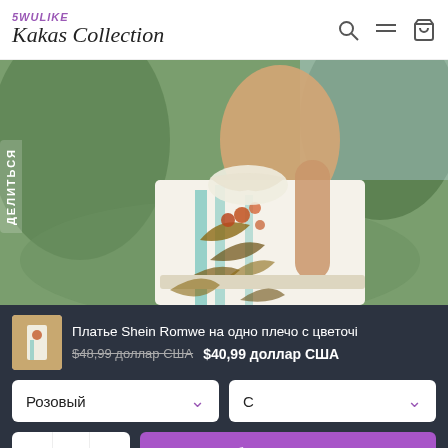[Figure (logo): 5WULIKE Kakas Collection logo with stylized italic script and purple accent text]
[Figure (photo): Woman wearing a one-shoulder tropical floral print dress by Shein Romwe, outdoors with green background]
ДЕЛИТЬСЯ
Платье Shein Romwe на одно плечо с цветочі
$48,99 доллар США   $40,99 доллар США
Розовый
С
- 1 +
Добавить в корзину